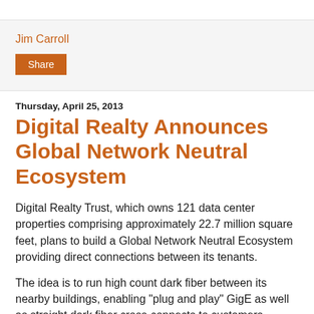Jim Carroll
Thursday, April 25, 2013
Digital Realty Announces Global Network Neutral Ecosystem
Digital Realty Trust, which owns 121 data center properties comprising approximately 22.7 million square feet, plans to build a Global Network Neutral Ecosystem providing direct connections between its tenants.
The idea is to run high count dark fiber between its nearby buildings, enabling "plug and play" GigE as well as straight dark fiber cross-connects to customers, carriers and service providers campus-wide.  The rollout will begin with Digital Realty's major campus locations including New York Metro, Boston, Ashburn, Chicago, Dallas, Santa Clara as well as